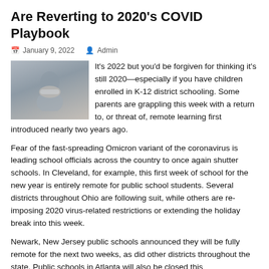Are Reverting to 2020's COVID Playbook
January 9, 2022   Admin
[Figure (photo): A person wearing a white face mask, adjusting the mask near a window]
It's 2022 but you'd be forgiven for thinking it's still 2020—especially if you have children enrolled in K-12 district schooling. Some parents are grappling this week with a return to, or threat of, remote learning first introduced nearly two years ago.
Fear of the fast-spreading Omicron variant of the coronavirus is leading school officials across the country to once again shutter schools. In Cleveland, for example, this first week of school for the new year is entirely remote for public school students. Several districts throughout Ohio are following suit, while others are re-imposing 2020 virus-related restrictions or extending the holiday break into this week.
Newark, New Jersey public schools announced they will be fully remote for the next two weeks, as did other districts throughout the state. Public schools in Atlanta will also be closed this